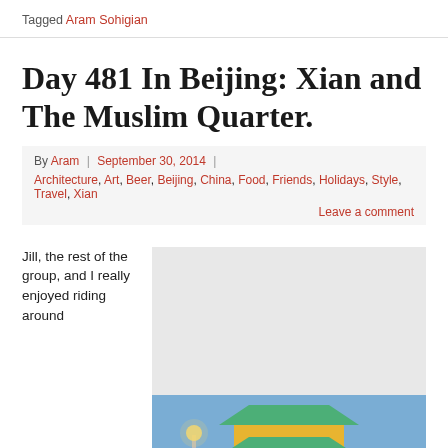Tagged Aram Sohigian
Day 481 In Beijing: Xian and The Muslim Quarter.
By Aram | September 30, 2014 |
Architecture, Art, Beer, Beijing, China, Food, Friends, Holidays, Style, Travel, Xian
Leave a comment
Jill, the rest of the group, and I really enjoyed riding around
[Figure (photo): Photo of illuminated Chinese pagoda/bell tower at night with a street lamp in the foreground]